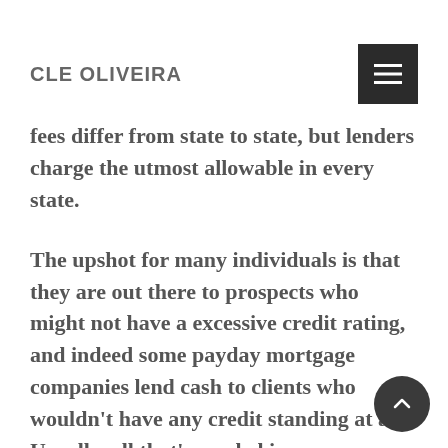CLE OLIVEIRA
fees differ from state to state, but lenders charge the utmost allowable in every state.
The upshot for many individuals is that they are out there to prospects who might not have a excessive credit rating, and indeed some payday mortgage companies lend cash to clients who wouldn't have any credit standing at all. Usually, all that's needed is identification, proof of income and a checking account. Typically even the primary two issues are enough to safe a